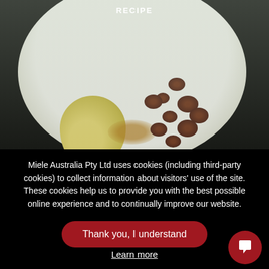[Figure (photo): Food photo on a white plate showing a pale yellow poached pear alongside a cluster of dried raisins with a honey or caramel sauce drizzle. Text overlay 'RECIPE' appears at the top of the image.]
Miele Australia Pty Ltd uses cookies (including third-party cookies) to collect information about visitors' use of the site. These cookies help us to provide you with the best possible online experience and to continually improve our website.
Thank you, I understand
Learn more